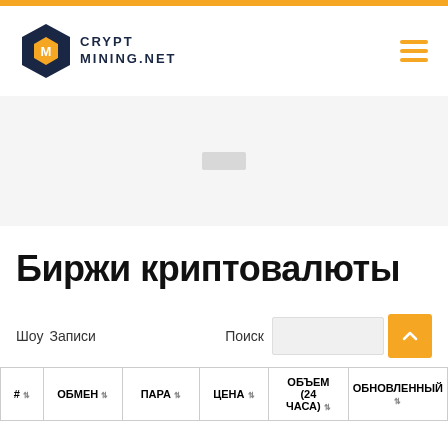[Figure (logo): CryptMining.net logo with hexagon icon and hamburger menu]
[Figure (other): Advertisement placeholder area]
Биржи криптовалюты
Шоу   Записи   Поиск
| # | ОБМЕН | ПАРА | ЦЕНА | ОБЪЕМ (24 ЧАСА) | ОБНОВЛЕННЫЙ |
| --- | --- | --- | --- | --- | --- |